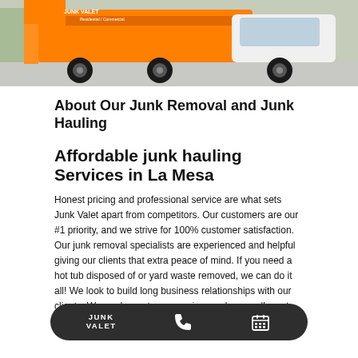[Figure (photo): Orange and white junk removal truck parked, with lift mechanism visible, partial view of cab and body with orange branding.]
About Our Junk Removal and Junk Hauling
Affordable junk hauling Services in La Mesa
Honest pricing and professional service are what sets Junk Valet apart from competitors. Our customers are our #1 priority, and we strive for 100% customer satisfaction. Our junk removal specialists are experienced and helpful giving our clients that extra peace of mind. If you need a hot tub disposed of or yard waste removed, we can do it all! We look to build long business relationships with our clients. We are here at your service so please call us at 866-459-0684 for all your junk removal needs.